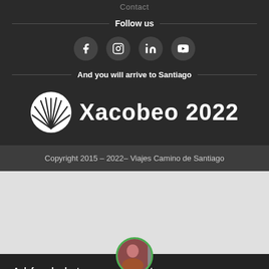Contact
Follow us
[Figure (illustration): Four social media icons in circles: Facebook, Instagram, LinkedIn, YouTube]
And you will arrive to Santiago
[Figure (logo): Xacobeo 2022 logo with shell icon and bold white text]
Copyright 2015 – 2022– Viajes Camino de Santiago
Ask for a budget
tours